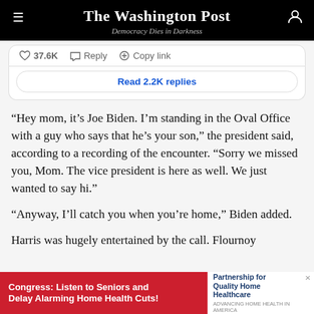The Washington Post — Democracy Dies in Darkness
37.6K   Reply   Copy link
Read 2.2K replies
“Hey mom, it’s Joe Biden. I’m standing in the Oval Office with a guy who says that he’s your son,” the president said, according to a recording of the encounter. “Sorry we missed you, Mom. The vice president is here as well. We just wanted to say hi.”
“Anyway, I’ll catch you when you’re home,” Biden added.
Harris was hugely entertained by the call. Flournoy
[Figure (other): Advertisement banner: Congress: Listen to Seniors and Delay Alarming Home Health Cuts! Partnership for Quality Home Healthcare]